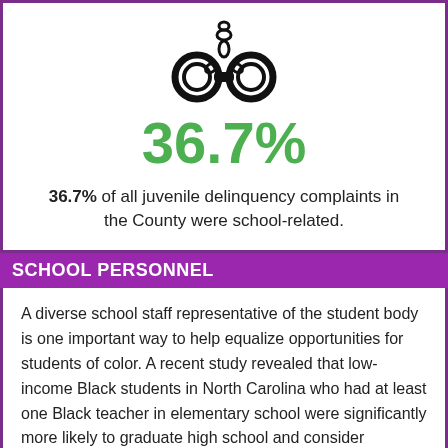[Figure (illustration): Black handcuffs icon]
36.7%
36.7% of all juvenile delinquency complaints in the County were school-related.
SCHOOL PERSONNEL
A diverse school staff representative of the student body is one important way to help equalize opportunities for students of color. A recent study revealed that low-income Black students in North Carolina who had at least one Black teacher in elementary school were significantly more likely to graduate high school and consider attending college. Despite this, North Carolina's teaching force remains disproportionately